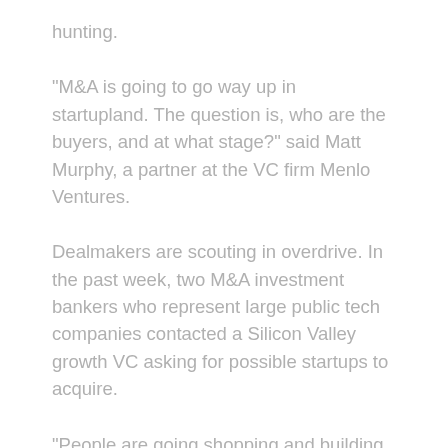hunting.
“M&A is going to go way up in startupland. The question is, who are the buyers, and at what stage?” said Matt Murphy, a partner at the VC firm Menlo Ventures.
Dealmakers are scouting in overdrive. In the past week, two M&A investment bankers who represent large public tech companies contacted a Silicon Valley growth VC asking for possible startups to acquire.
“People are going shopping and building out a shortlist,” the VC said.
That’s because there is — or soon may be — a glut of overvalued startups low on cash looking for a buyer to save them, bankers and VCs told Insider, with some VCs requesting anonymity because they weren’t authorized to speak about potential deals. Their identities are known to